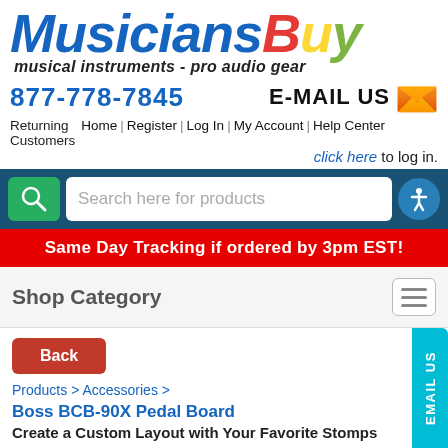[Figure (logo): MusiciansBuy logo with italic bold text: 'Musicians' in blue, 'B' in red, 'u' in yellow, 'y' in green]
musical instruments - pro audio gear
877-778-7845
E-MAIL US
Returning Customers | Home | Register | Log In | My Account | Help Center
click here to log in.
Search here for products
Same Day Tracking if ordered by 3pm EST!
Shop Category
Back
Products > Accessories >
Boss BCB-90X Pedal Board
Create a Custom Layout with Your Favorite Stomps
EMAIL US